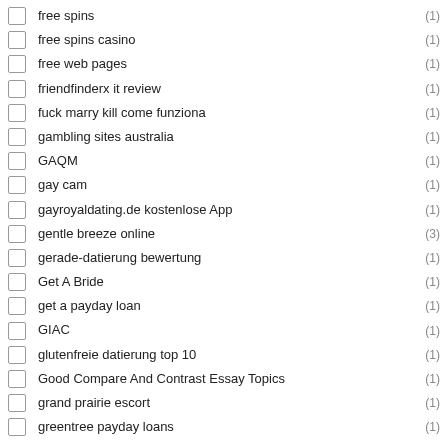free spins (1)
free spins casino (1)
free web pages (1)
friendfinderx it review (1)
fuck marry kill come funziona (1)
gambling sites australia (1)
GAQM (1)
gay cam (1)
gayroyaldating.de kostenlose App (1)
gentle breeze online (3)
gerade-datierung bewertung (1)
Get A Bride (1)
get a payday loan (1)
GIAC (1)
glutenfreie datierung top 10 (1)
Good Compare And Contrast Essay Topics (1)
grand prairie escort (1)
greentree payday loans (1)